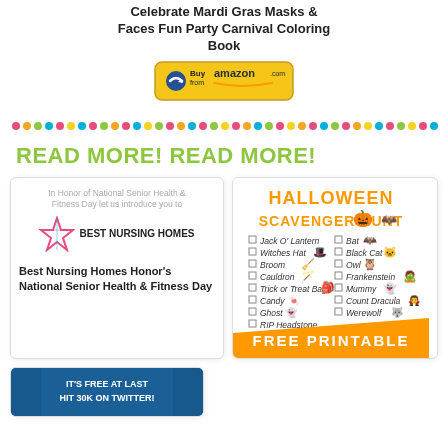Celebrate Mardi Gras Masks & Faces Fun Party Carnival Coloring Book
[Figure (other): Amazon Buy button/badge]
[Figure (other): Colorful dots divider row]
READ MORE! READ MORE!
[Figure (other): Card: Best Nursing Homes logo with star and text, intro text about National Senior Health & Fitness Day]
Best Nursing Homes Honor's National Senior Health & Fitness Day
[Figure (other): Halloween Scavenger Hunt free printable card with checklist items and clipart]
[Figure (other): Bottom card: It's free at last hit 30k on Twitter!]